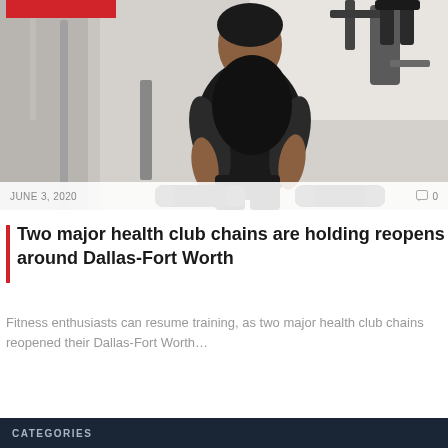[Figure (photo): Man in black Nike tank top sitting in a gym holding dumbbells, with gym equipment in the background. A red tag/banner is visible at the top left of the image.]
JUNE 3, 2020  0
Two major health club chains are holding reopens around Dallas-Fort Worth
Fitness enthusiasts can resume training, as two major health club chains reopened their Dallas-Fort Worth…
CATEGORIES